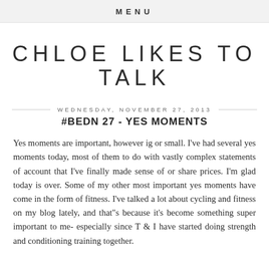MENU
CHLOE LIKES TO TALK
WEDNESDAY, NOVEMBER 27, 2013
#BEDN 27 - YES MOMENTS
Yes moments are important, however ig or small. I've had several yes moments today, most of them to do with vastly complex statements of account that I've finally made sense of or share prices. I'm glad today is over. Some of my other most important yes moments have come in the form of fitness. I've talked a lot about cycling and fitness on my blog lately, and that"s because it's become something super important to me- especially since T & I have started doing strength and conditioning training together.